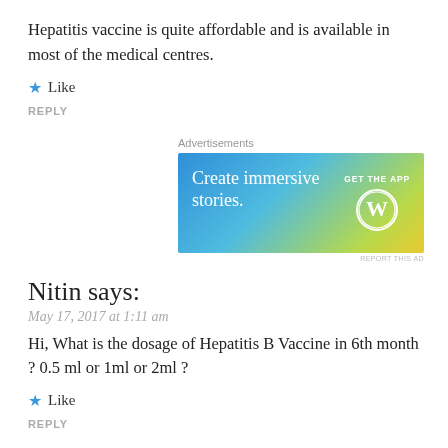Hepatitis vaccine is quite affordable and is available in most of the medical centres.
★ Like
REPLY
[Figure (other): WordPress advertisement banner with gradient blue-green-yellow background, text 'Create immersive stories.' on left, 'GET THE APP' with WordPress logo circle on right. Label 'Advertisements' above, 'REPORT THIS AD' below.]
Nitin says:
May 17, 2017 at 1:11 am
Hi, What is the dosage of Hepatitis B Vaccine in 6th month ? 0.5 ml or 1ml or 2ml ?
★ Like
REPLY
Gauri Kshirsagar says: